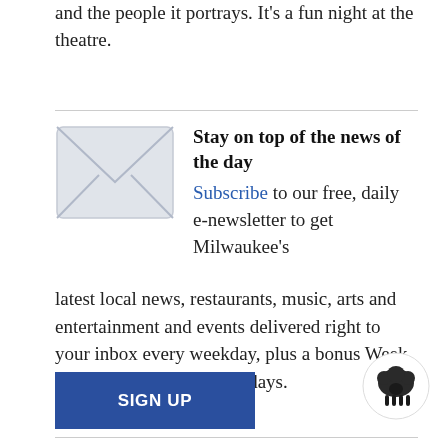and the people it portrays. It's a fun night at the theatre.
[Figure (illustration): Grey envelope icon representing email/newsletter subscription]
Stay on top of the news of the day
Subscribe to our free, daily e-newsletter to get Milwaukee's latest local news, restaurants, music, arts and entertainment and events delivered right to your inbox every weekday, plus a bonus Week in Review email on Saturdays.
SIGN UP
[Figure (illustration): Small black sheep icon/logo]
The Boulevard Theatre's production of The